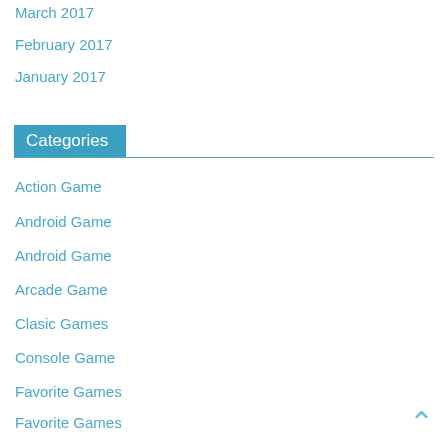March 2017
February 2017
January 2017
Categories
Action Game
Android Game
Android Game
Arcade Game
Clasic Games
Console Game
Favorite Games
Favorite Games
Feature Games